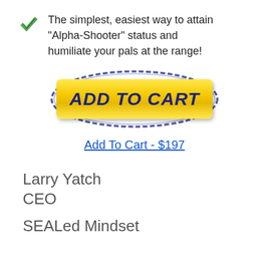The simplest, easiest way to attain "Alpha-Shooter" status and humiliate your pals at the range!
[Figure (other): Add To Cart button — yellow pill-shaped button with blue oval border, bold italic dark blue text reading ADD TO CART]
Add To Cart - $197
Larry Yatch
CEO
SEALed Mindset